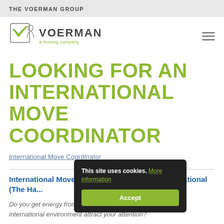THE VOERMAN GROUP
[Figure (logo): Voerman International logo with green checkmark icon and text 'VOERMAN a moving company']
LOOKING FOR AN INTERNATIONAL MOVE COORDINATOR
International Move Coordinator
International Move Coordinator – Voerman International (The Ha...
Do you get energy from helping people? Does working in an international environment attract your attention?
This site uses cookies. More information Accept